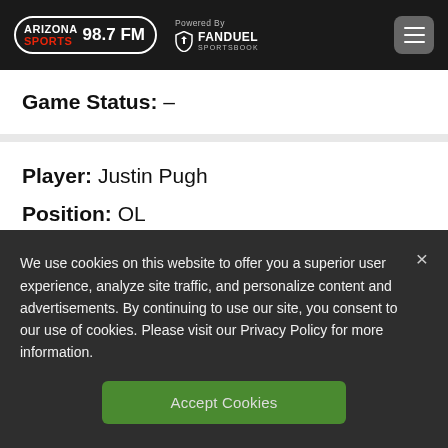Arizona Sports 98.7 FM — Powered By FanDuel Sportsbook
Game Status: –
Player: Justin Pugh
Position: OL
Injury: Calf
We use cookies on this website to offer you a superior user experience, analyze site traffic, and personalize content and advertisements. By continuing to use our site, you consent to our use of cookies. Please visit our Privacy Policy for more information.
Accept Cookies